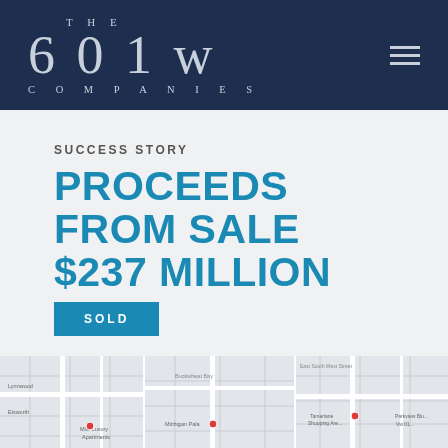[Figure (logo): The 601W Companies logo — white serif text on dark navy background with hamburger menu icon]
SUCCESS STORY
PROCEEDS FROM SALE $237 MILLION
SOLD
[Figure (map): Three Google Maps panels showing property locations at street level]